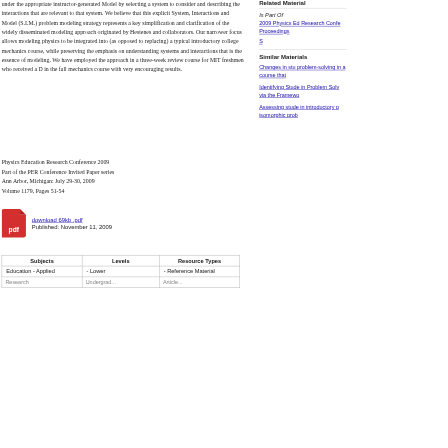under the appropriate instructor-generated Model by selecting a system to consider and describing the interactions that are relevant to that system. We believe that this explicit System, Interactions and Model (S.I.M.) problem modeling strategy represents a key simplification and clarification of the widely disseminated modeling approach originated by Hestenes and collaborators. Our narrower focus allows modeling physics to be integrated into (as opposed to replacing) a typical introductory college mechanics course, while preserving the emphasis on understanding systems and interactions that is the essence of modeling. We have employed the approach in a three-week review course for MIT freshmen who received a D in the fall mechanics course with very encouraging results.
Physics Education Research Conference 2009
Part of the PER Conference Invited Paper series
Ann Arbor, Michigan: July 29-30, 2009
Volume 1179, Pages 51-54
download 69kb .pdf
Published: November 11, 2009
Related Materials
Is Part Of
2009 Physics Education Research Conference Proceedings
Similar Materials
Changes in student problem-solving in a course that
Identifying Student in Problem Solving via the Framework
Assessing student in introductory p isomorphic prob
| Subjects | Levels | Resource Types |
| --- | --- | --- |
| Education - Applied | - Lower | - Reference Material |